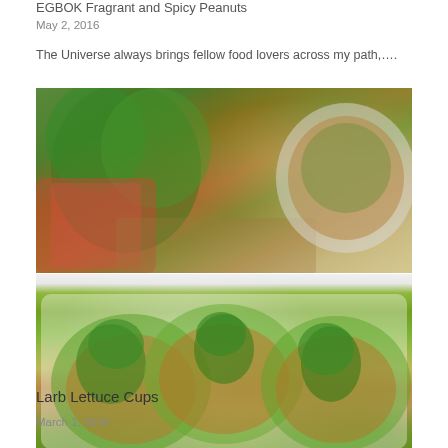EGBOK Fragrant and Spicy Peanuts
May 2, 2016
The Universe always brings fellow food lovers across my path,….
[Figure (photo): Two food photos stacked: top shows fresh herbs and a bowl of minced meat with greens; bottom shows three lettuce cups filled with larb (minced meat) topped with fresh mint and herbs on a white platter.]
Larb Lettuce Cups
March 1, 2016